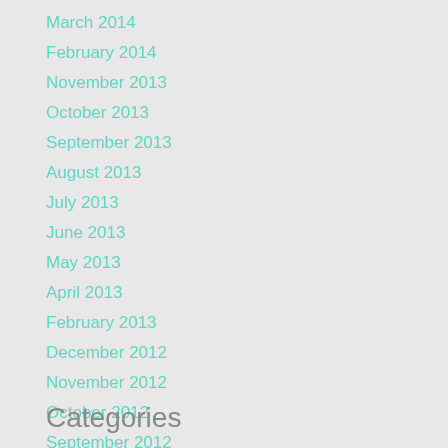March 2014
February 2014
November 2013
October 2013
September 2013
August 2013
July 2013
June 2013
May 2013
April 2013
February 2013
December 2012
November 2012
October 2012
September 2012
August 2012
July 2012
Categories